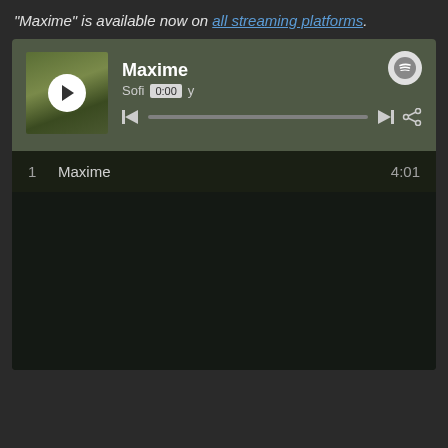"Maxime" is available now on all streaming platforms.
[Figure (screenshot): Spotify embedded music player widget showing the song 'Maxime' by Sofia Key. The player has a dark olive/green header with album art showing a person under an umbrella, a play button, track title 'Maxime', artist 'Sofia Key', timestamp '0:00', playback controls, progress bar, and Spotify logo. Below is a track listing showing track 1 'Maxime' with duration 4:01.]
1   Maxime   4:01